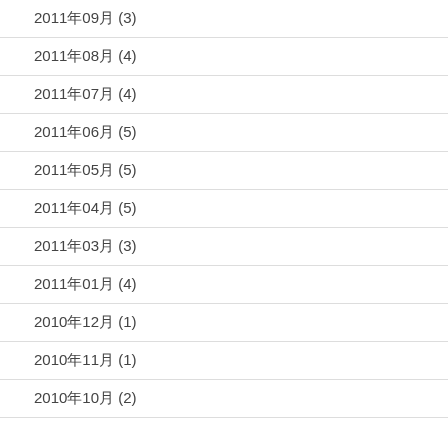2011年09月 (3)
2011年08月 (4)
2011年07月 (4)
2011年06月 (5)
2011年05月 (5)
2011年04月 (5)
2011年03月 (3)
2011年01月 (4)
2010年12月 (1)
2010年11月 (1)
2010年10月 (2)